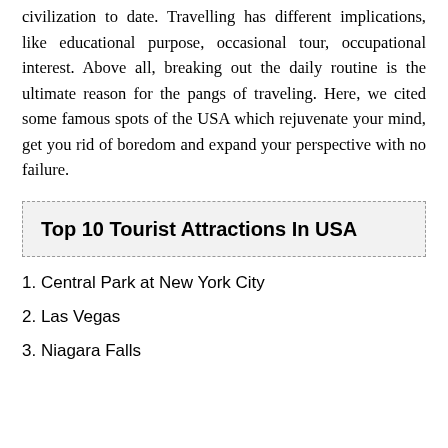civilization to date. Travelling has different implications, like educational purpose, occasional tour, occupational interest. Above all, breaking out the daily routine is the ultimate reason for the pangs of traveling. Here, we cited some famous spots of the USA which rejuvenate your mind, get you rid of boredom and expand your perspective with no failure.
Top 10 Tourist Attractions In USA
1. Central Park at New York City
2. Las Vegas
3. Niagara Falls